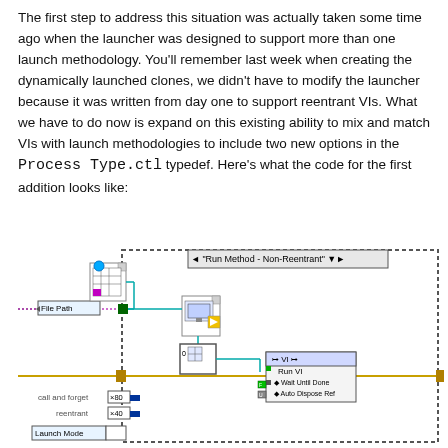The first step to address this situation was actually taken some time ago when the launcher was designed to support more than one launch methodology. You'll remember last week when creating the dynamically launched clones, we didn't have to modify the launcher because it was written from day one to support reentrant VIs. What we have to do now is expand on this existing ability to mix and match VIs with launch methodologies to include two new options in the Process Type.ctl typedef. Here's what the code for the first addition looks like:
[Figure (screenshot): LabVIEW block diagram showing a 'Run Method - Non-Reentrant' case with File Path input, VI reference nodes, Open VI Reference, Run VI function with Wait Until Done and Auto Dispose Ref terminals, call and forget x80 and reentrant x40 numeric constants, and Launch Mode control.]